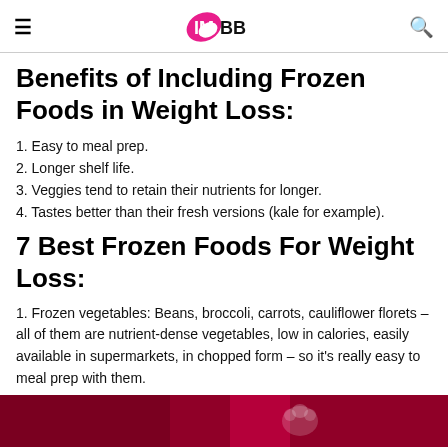IMBB
Benefits of Including Frozen Foods in Weight Loss:
1. Easy to meal prep.
2. Longer shelf life.
3. Veggies tend to retain their nutrients for longer.
4. Tastes better than their fresh versions (kale for example).
7 Best Frozen Foods For Weight Loss:
1. Frozen vegetables: Beans, broccoli, carrots, cauliflower florets – all of them are nutrient-dense vegetables, low in calories, easily available in supermarkets, in chopped form – so it's really easy to meal prep with them.
[Figure (photo): Bottom portion of a dark red/maroon promotional image or food packaging]